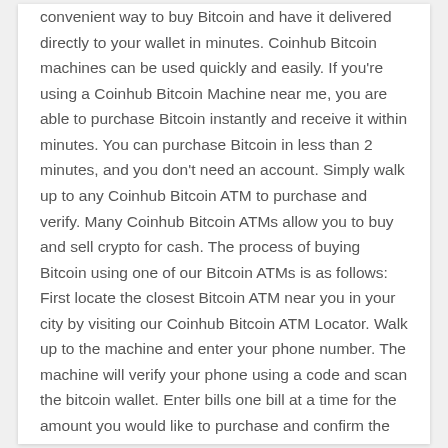convenient way to buy Bitcoin and have it delivered directly to your wallet in minutes. Coinhub Bitcoin machines can be used quickly and easily. If you're using a Coinhub Bitcoin Machine near me, you are able to purchase Bitcoin instantly and receive it within minutes. You can purchase Bitcoin in less than 2 minutes, and you don't need an account. Simply walk up to any Coinhub Bitcoin ATM to purchase and verify. Many Coinhub Bitcoin ATMs allow you to buy and sell crypto for cash. The process of buying Bitcoin using one of our Bitcoin ATMs is as follows: First locate the closest Bitcoin ATM near you in your city by visiting our Coinhub Bitcoin ATM Locator. Walk up to the machine and enter your phone number. The machine will verify your phone using a code and scan the bitcoin wallet. Enter bills one bill at a time for the amount you would like to purchase and confirm the bitcoin atm prior to purchase. Bitcoin is then instantly